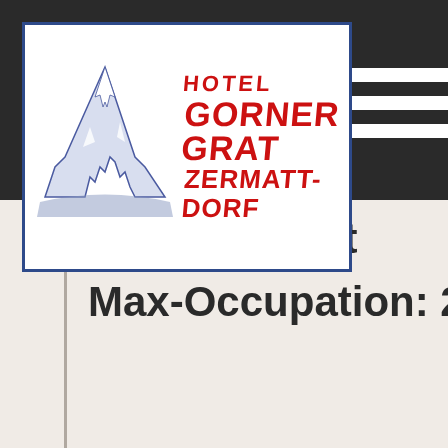[Figure (logo): Hotel Gornergrat Zermatt-Dorf logo with Matterhorn mountain illustration in blue/purple outline and red bold text reading HOTEL GORNERGRAT ZERMATT-DORF, enclosed in a blue-bordered white rectangle]
n - West
Max-Occupation: 2 Numb